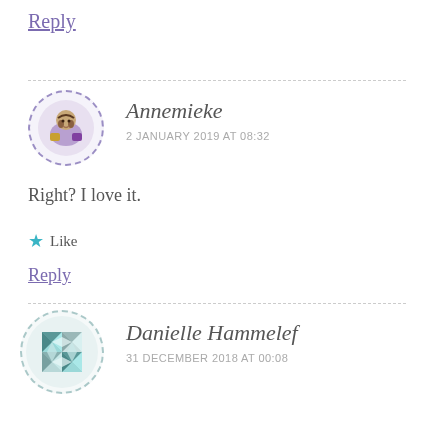Reply
Annemieke
2 JANUARY 2019 AT 08:32
Right? I love it.
★ Like
Reply
Danielle Hammelef
31 DECEMBER 2018 AT 00:08